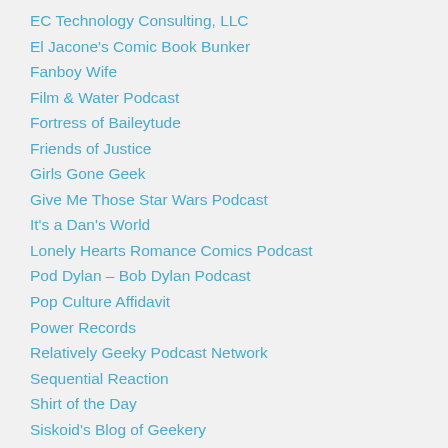EC Technology Consulting, LLC
El Jacone's Comic Book Bunker
Fanboy Wife
Film & Water Podcast
Fortress of Baileytude
Friends of Justice
Girls Gone Geek
Give Me Those Star Wars Podcast
It's a Dan's World
Lonely Hearts Romance Comics Podcast
Pod Dylan – Bob Dylan Podcast
Pop Culture Affidavit
Power Records
Relatively Geeky Podcast Network
Sequential Reaction
Shirt of the Day
Siskoid's Blog of Geekery
Super Mates Podcast
Text and Violence
The Comic Pages
The Dork Review
Thom Zahler Art Studios
Toyriffic